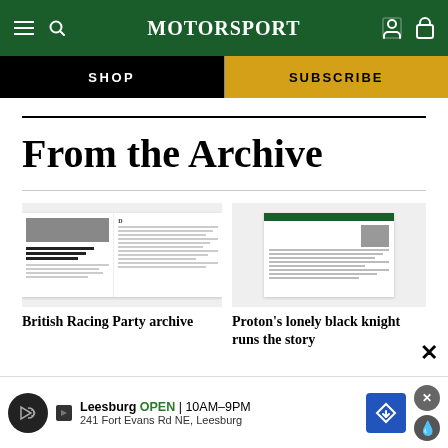Motor Sport
SHOP
SUBSCRIBE
From the Archive
[Figure (screenshot): Thumbnail preview of a Motor Sport magazine spread showing a racing car photo and article text]
[Figure (screenshot): Thumbnail preview of a Motor Sport magazine page showing a portrait image and article text with green header]
British Racing Party archive
Proton's lonely black knight runs the story
[Figure (other): Advertisement banner: Leesburg OPEN 10AM–9PM, 241 Fort Evans Rd NE, Leesburg]